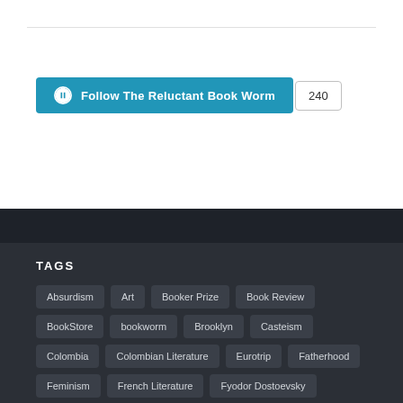[Figure (other): Follow The Reluctant Book Worm WordPress follow button with count 240]
TAGS
Absurdism
Art
Booker Prize
Book Review
BookStore
bookworm
Brooklyn
Casteism
Colombia
Colombian Literature
Eurotrip
Fatherhood
Feminism
French Literature
Fyodor Dostoevsky
Gabriel Garcia Marquez
Graphic Novel
Hiking
Immigrant Life
Immigration
Independent BookStores
India
Indian
Indian Author
Indian Parenting
Japanese
Japanese Literature
Junichiro Tanizaki
Kerala
Life
Malayalam
Manhattan